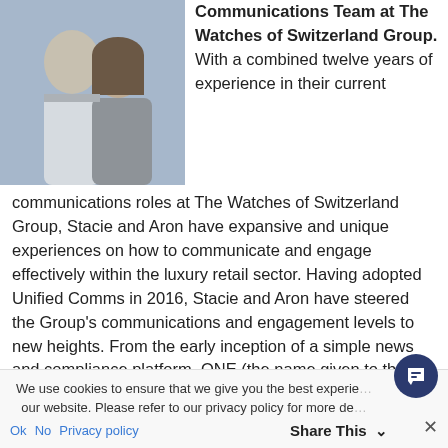[Figure (photo): Two people (a man and a woman) smiling, cropped headshot photo]
Communications Team at The Watches of Switzerland Group. With a combined twelve years of experience in their current communications roles at The Watches of Switzerland Group, Stacie and Aron have expansive and unique experiences on how to communicate and engage effectively within the luxury retail sector. Having adopted Unified Comms in 2016, Stacie and Aron have steered the Group's communications and engagement levels to new heights. From the early inception of a simple news and compliance platform, ONE (the name given to the platform for its all-encompassing vision) has developed significantly into the beating heart of company communications. Achieving enviable rates of
We use cookies to ensure that we give you the best experience on our website. Please refer to our privacy policy for more details.
Ok  No  Privacy policy                    Share This  ∨                                        ✕